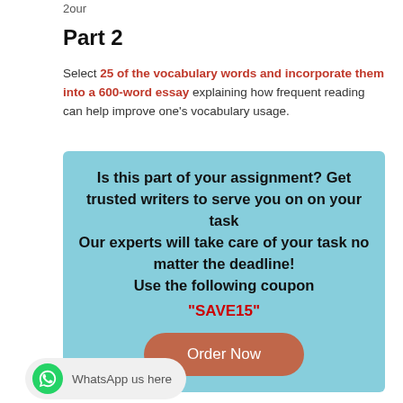2our
Part 2
Select 25 of the vocabulary words and incorporate them into a 600-word essay explaining how frequent reading can help improve one's vocabulary usage.
[Figure (infographic): Light blue advertisement box with black bold text: 'Is this part of your assignment? Get trusted writers to serve you on on your task Our experts will take care of your task no matter the deadline! Use the following coupon' followed by red bold text '"SAVE15"' and a brown rounded button 'Order Now']
WhatsApp us here